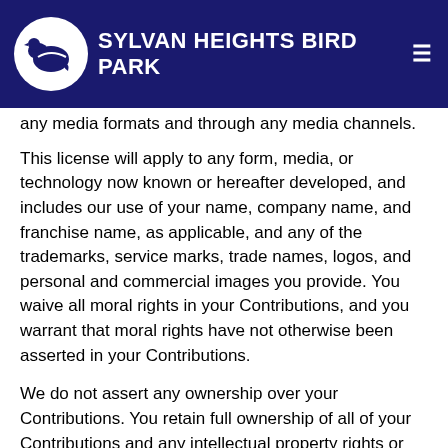SYLVAN HEIGHTS BIRD PARK
any media formats and through any media channels.
This license will apply to any form, media, or technology now known or hereafter developed, and includes our use of your name, company name, and franchise name, as applicable, and any of the trademarks, service marks, trade names, logos, and personal and commercial images you provide. You waive all moral rights in your Contributions, and you warrant that moral rights have not otherwise been asserted in your Contributions.
We do not assert any ownership over your Contributions. You retain full ownership of all of your Contributions and any intellectual property rights or other proprietary rights associated with your Contributions. We are not liable for any statements or representations in your Contributions provided by you in any area on the Site.
You are solely responsible for your Contributions to the Site and you expressly agree to exonerate us from any and all responsibility and to refrain from any legal action against us regarding your Contributions.